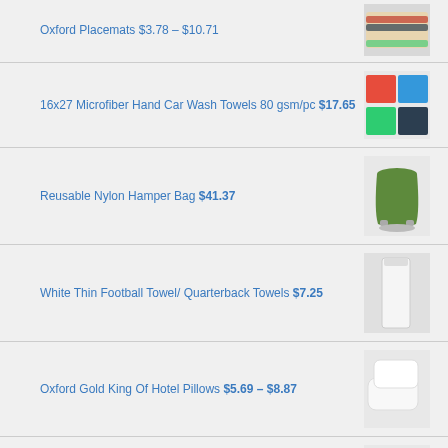Oxford Placemats $3.78 – $10.71
16x27 Microfiber Hand Car Wash Towels 80 gsm/pc $17.65
Reusable Nylon Hamper Bag $41.37
White Thin Football Towel/ Quarterback Towels $7.25
Oxford Gold King Of Hotel Pillows $5.69 – $8.87
Oxford Momie White Tablecloth $64.57 – $103.43
Large Capacity Front Load Laundry Cart-3.75